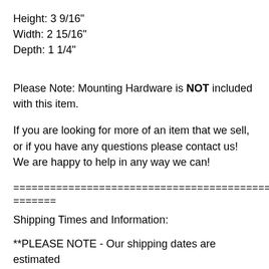Height: 3 9/16"
Width: 2 15/16"
Depth: 1 1/4"
Please Note: Mounting Hardware is NOT included with this item.
If you are looking for more of an item that we sell, or if you have any questions please contact us! We are happy to help in any way we can!
==================================================
=======
Shipping Times and Information:
**PLEASE NOTE - Our shipping dates are estimated